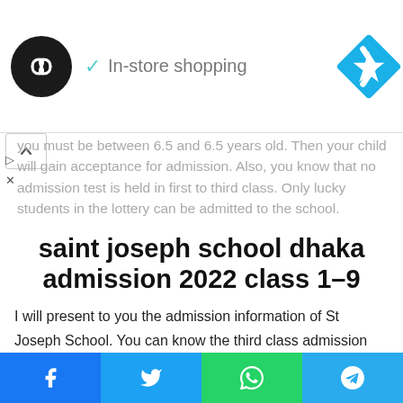[Figure (screenshot): Ad banner with circular black logo with double arrows, 'In-store shopping' text with checkmark, and blue diamond navigation icon]
you must be between 6.5 and 6.5 years old. Then your child will gain acceptance for admission. Also, you know that no admission test is held in first to third class. Only lucky students in the lottery can be admitted to the school.
saint joseph school dhaka admission 2022 class 1-9
I will present to you the admission information of St Joseph School. You can know the third class admission information through this article. If your child is between 6.5 and 6.5 years old.
[Figure (infographic): Social sharing footer buttons: Facebook (blue), Twitter (light blue), WhatsApp (green), Telegram (blue)]